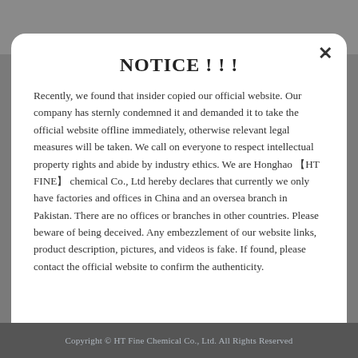NOTICE ! ! !
Recently, we found that insider copied our official website. Our company has sternly condemned it and demanded it to take the official website offline immediately, otherwise relevant legal measures will be taken. We call on everyone to respect intellectual property rights and abide by industry ethics. We are Honghao 【HT FINE】 chemical Co., Ltd hereby declares that currently we only have factories and offices in China and an oversea branch in Pakistan. There are no offices or branches in other countries. Please beware of being deceived. Any embezzlement of our website links, product description, pictures, and videos is fake. If found, please contact the official website to confirm the authenticity.
Copyright © HT Fine Chemical Co., Ltd. All Rights Reserved